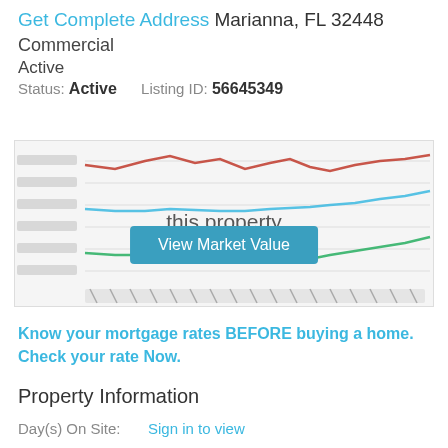Get Complete Address Marianna, FL 32448
Commercial
Active
Status: Active    Listing ID: 56645349
[Figure (line-chart): Blurred line chart showing rental and market value of this property with red, blue, and green lines over time. Overlaid with text 'this property' and a button 'View Market Value'.]
Know your mortgage rates BEFORE buying a home. Check your rate Now.
Property Information
Day(s) On Site:    Sign in to view